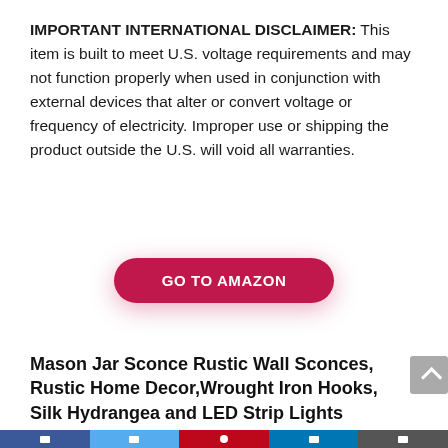IMPORTANT INTERNATIONAL DISCLAIMER: This item is built to meet U.S. voltage requirements and may not function properly when used in conjunction with external devices that alter or convert voltage or frequency of electricity. Improper use or shipping the product outside the U.S. will void all warranties.
[Figure (other): Red pill-shaped button with white bold uppercase text reading GO TO AMAZON, with a pink glow/shadow beneath it]
Mason Jar Sconce Rustic Wall Sconces, Rustic Home Decor,Wrought Iron Hooks, Silk Hydrangea and LED Strip Lights Design for Home Decoration (Set of 2)
Social media share bar (Facebook, Twitter, Pinterest, LinkedIn, Email)